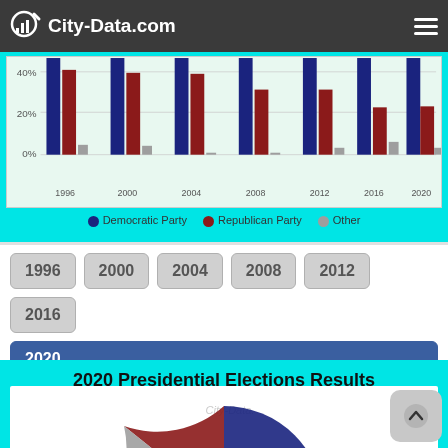City-Data.com
[Figure (grouped-bar-chart): Presidential Election Results - Montgomery County, MD]
1996
2000
2004
2008
2012
2016
2020
2020 Presidential Elections Results
Montgomery County, MD
[Figure (pie-chart): Pie chart partially visible showing Democratic (blue) and Republican (red) slices with a small gray Other slice]